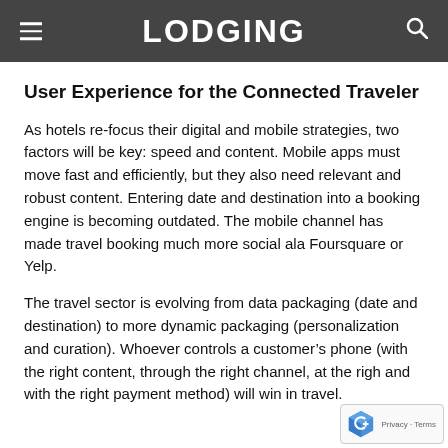LODGING
User Experience for the Connected Traveler
As hotels re-focus their digital and mobile strategies, two factors will be key: speed and content. Mobile apps must move fast and efficiently, but they also need relevant and robust content. Entering date and destination into a booking engine is becoming outdated. The mobile channel has made travel booking much more social ala Foursquare or Yelp.
The travel sector is evolving from data packaging (date and destination) to more dynamic packaging (personalization and curation). Whoever controls a customer’s phone (with the right content, through the right channel, at the right and with the right payment method) will win in travel.